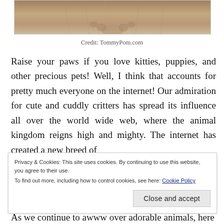[Figure (photo): Close-up photo of a fluffy animal's paws/fur, beige and tan tones]
Credit: TommyPom.com
Raise your paws if you love kitties, puppies, and other precious pets! Well, I think that accounts for pretty much everyone on the internet! Our admiration for cute and cuddly critters has spread its influence all over the world wide web, where the animal kingdom reigns high and mighty. The internet has created a new breed of
Privacy & Cookies: This site uses cookies. By continuing to use this website, you agree to their use.
To find out more, including how to control cookies, see here: Cookie Policy
Close and accept
As we continue to awww over adorable animals, here